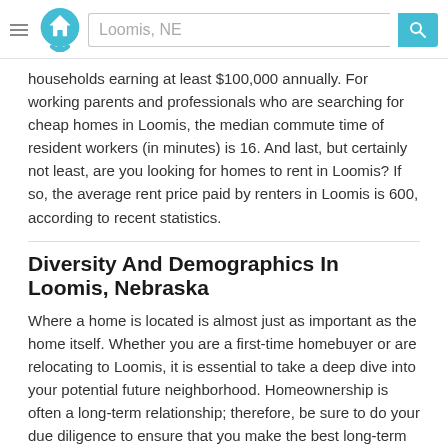Loomis, NE
households earning at least $100,000 annually. For working parents and professionals who are searching for cheap homes in Loomis, the median commute time of resident workers (in minutes) is 16. And last, but certainly not least, are you looking for homes to rent in Loomis? If so, the average rent price paid by renters in Loomis is 600, according to recent statistics.
Diversity And Demographics In Loomis, Nebraska
Where a home is located is almost just as important as the home itself. Whether you are a first-time homebuyer or are relocating to Loomis, it is essential to take a deep dive into your potential future neighborhood. Homeownership is often a long-term relationship; therefore, be sure to do your due diligence to ensure that you make the best long-term decision.
The median age of residents in Loomis is 46.5, split between 55.9 percent male versus 44.1 female. The percentage of residents who report being married in Loomis is 60.9, with an average family size of 2.89.